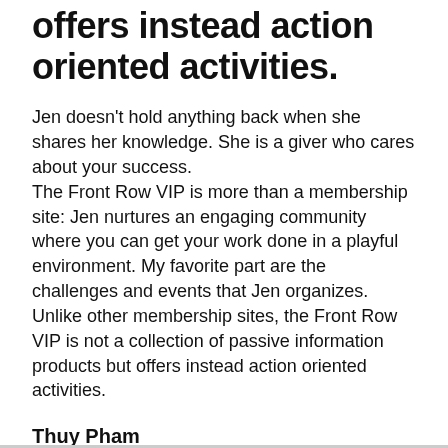offers instead action oriented activities.
Jen doesn’t hold anything back when she shares her knowledge. She is a giver who cares about your success.
The Front Row VIP is more than a membership site: Jen nurtures an engaging community where you can get your work done in a playful environment. My favorite part are the challenges and events that Jen organizes. Unlike other membership sites, the Front Row VIP is not a collection of passive information products but offers instead action oriented activities.
Thuy Pham